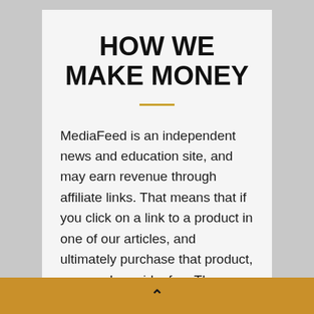HOW WE MAKE MONEY
MediaFeed is an independent news and education site, and may earn revenue through affiliate links. That means that if you click on a link to a product in one of our articles, and ultimately purchase that product, we may be paid a fee. The inclusion of those links, however, does not impact the